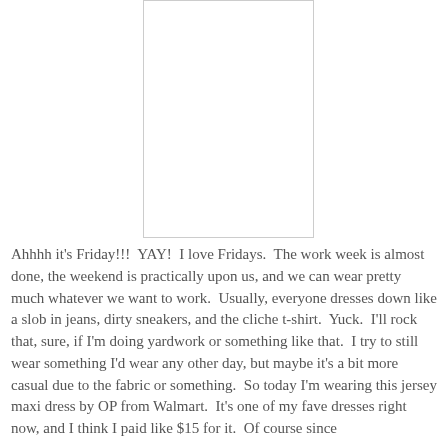[Figure (photo): White rectangular image placeholder area centered in upper portion of page]
Ahhhh it's Friday!!!  YAY!  I love Fridays.  The work week is almost done, the weekend is practically upon us, and we can wear pretty much whatever we want to work.  Usually, everyone dresses down like a slob in jeans, dirty sneakers, and the cliche t-shirt.  Yuck.  I'll rock that, sure, if I'm doing yardwork or something like that.  I try to still wear something I'd wear any other day, but maybe it's a bit more casual due to the fabric or something.  So today I'm wearing this jersey maxi dress by OP from Walmart.  It's one of my fave dresses right now, and I think I paid like $15 for it.  Of course since